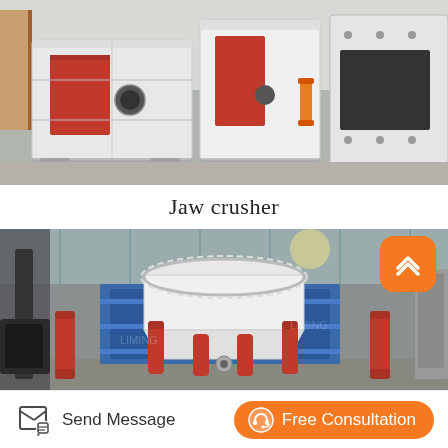[Figure (photo): Industrial jaw crusher machines in white and red color, shown in a factory/warehouse setting with multiple units lined up on a concrete floor.]
Jaw crusher
[Figure (photo): Large cone crusher machine in white with red hydraulic cylinders and blue support structures, photographed inside an industrial facility. An orange scroll-up button overlay is visible in the top-right corner.]
Send Message
Free Consultation